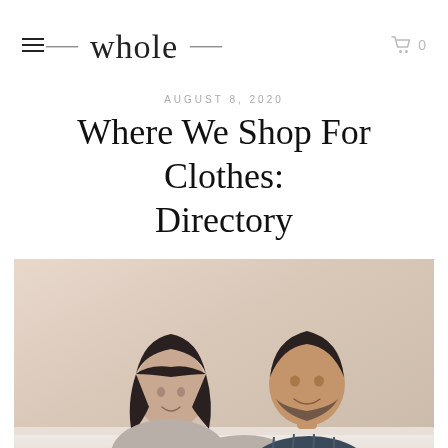≡  whole  🛒 0
AUGUST 8, 2020
Where We Shop For Clothes: Directory
[Figure (photo): A smiling couple sitting together. A woman with dark hair and bangs wearing a gray sweater leans toward a bearded man in a dark plaid shirt. Warm neutral background.]